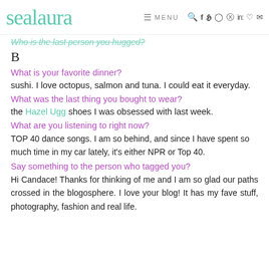sealaura | MENU
Who is the last person you hugged?
B
What is your favorite dinner?
sushi. I love octopus, salmon and tuna. I could eat it everyday.
What was the last thing you bought to wear?
the Hazel Ugg shoes I was obsessed with last week.
What are you listening to right now?
TOP 40 dance songs. I am so behind, and since I have spent so much time in my car lately, it's either NPR or Top 40.
Say something to the person who tagged you?
Hi Candace! Thanks for thinking of me and I am so glad our paths crossed in the blogosphere. I love your blog! It has my fave stuff, photography, fashion and real life.